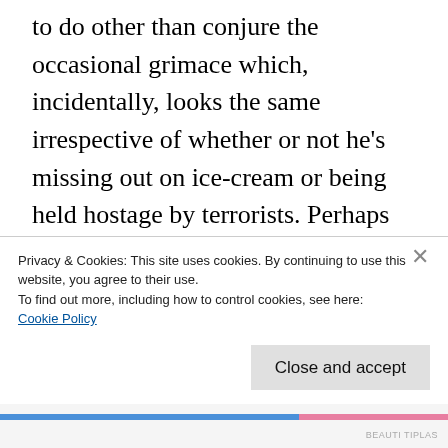to do other than conjure the occasional grimace which, incidentally, looks the same irrespective of whether or not he’s missing out on ice-cream or being held hostage by terrorists. Perhaps the most problematic character is Dylan McDermott’s Secret Service agent Dave Forbes whose moral dynamic flip-flops around more than a fish out of water. Female persons are inexcusably shunted to background; the likes of Radha Mitchell, Ashley [Judd and Melissa Leo are less than secondary...]
Privacy & Cookies: This site uses cookies. By continuing to use this website, you agree to their use.
To find out more, including how to control cookies, see here:
Cookie Policy
Close and accept